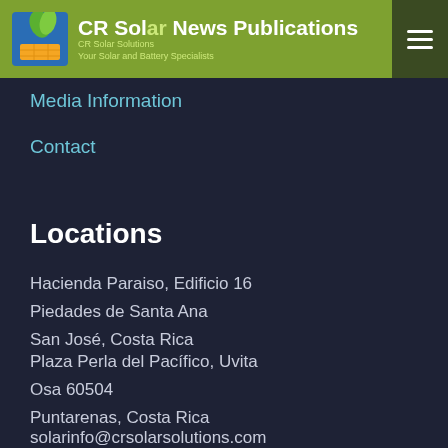CR Solar News Publications
Media Information
Contact
Locations
Hacienda Paraiso, Edificio 16
Piedades de Santa Ana
San José, Costa Rica
Plaza Perla del Pacífico, Uvita
Osa 60504
Puntarenas, Costa Rica
solarinfo@crsolarsolutions.com